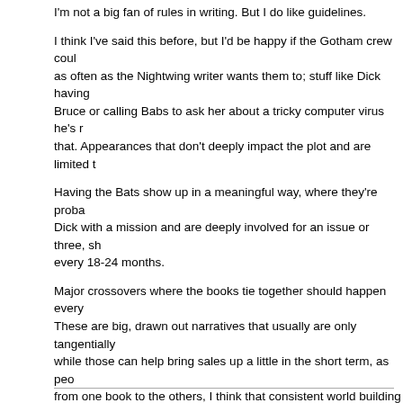I'm not a big fan of rules in writing. But I do like guidelines.
I think I've said this before, but I'd be happy if the Gotham crew could show up as often as the Nightwing writer wants them to; stuff like Dick having a talk with Bruce or calling Babs to ask her about a tricky computer virus he's run into and that. Appearances that don't deeply impact the plot and are limited t...
Having the Bats show up in a meaningful way, where they're proba... Dick with a mission and are deeply involved for an issue or three, sh... every 18-24 months.
Major crossovers where the books tie together should happen every... These are big, drawn out narratives that usually are only tangentially... while those can help bring sales up a little in the short term, as peo... from one book to the others, I think that consistent world building fo... greater returns in the long run and do a better job building his fanba...
Same applies to Titans and Supers and whoever else.
As for a Gordon, I don't mind Dick having contacts in the civilian sec... mean, even Superman has contacts like Dan Turpin, Maggie Sawye... Henderson. But Dick needs his own mythos and setting and cast, a... be, and shouldn't be, a simple copy of Gotham. So if he's got a frien... fine, but that dynamic needs to be built to advance and compliment... something of Bruce's that got re-purposed and slapped onto Dick's... Dick's a Bat so he obviously needs a Gordon.